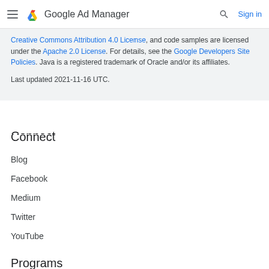Google Ad Manager | Sign in
Creative Commons Attribution 4.0 License, and code samples are licensed under the Apache 2.0 License. For details, see the Google Developers Site Policies. Java is a registered trademark of Oracle and/or its affiliates.
Last updated 2021-11-16 UTC.
Connect
Blog
Facebook
Medium
Twitter
YouTube
Programs